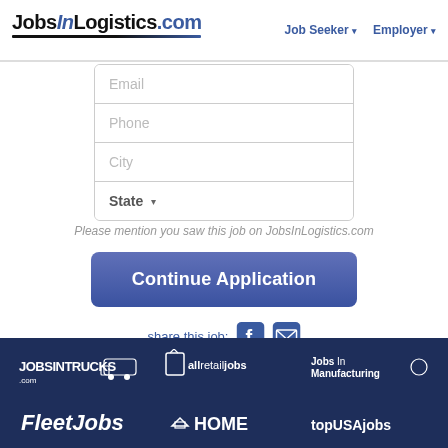JobsInLogistics.com | Job Seeker ▾ | Employer ▾
Email
Phone
City
State
Please mention you saw this job on JobsInLogistics.com
Continue Application
share this job:
[Figure (logo): JobsInTrucks logo with truck icon]
[Figure (logo): allretailjobs logo with shopping bag icon]
[Figure (logo): JobsInManufacturing logo with gear icon]
[Figure (logo): FleetJobs logo text]
[Figure (logo): HOME jobs logo with house icon]
[Figure (logo): topUSAjobs logo text]